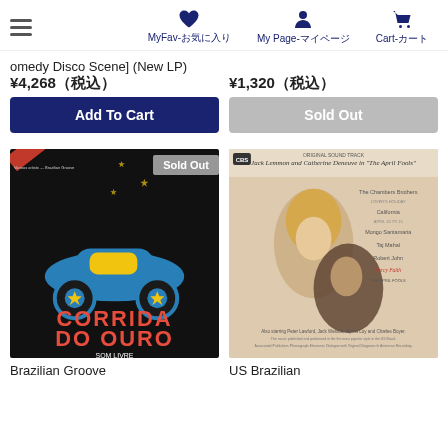MyFav-お気に入り  My Page-マイページ  Cart-カート
omedy Disco Scene] (New LP)  ¥1,320（税込）
¥4,268（税込）
Add To Cart
Sold Out
[Figure (photo): Album cover: Corrida Do Ouro by Som Livre — dark background with colorful illustrated car and stars, text 'CORRIDA DO OURO SOM LIVRE'. Sold Out badge shown.]
[Figure (photo): Album cover: US Brazilian — Jack Lemmon and Catherine Deneuve in 'The April Fools', featuring The Chambers Brothers, Calofornia, Mongo Santamaria, Taj Mahal, Robert John, Percy Faith.]
Brazilian Groove
US Brazilian